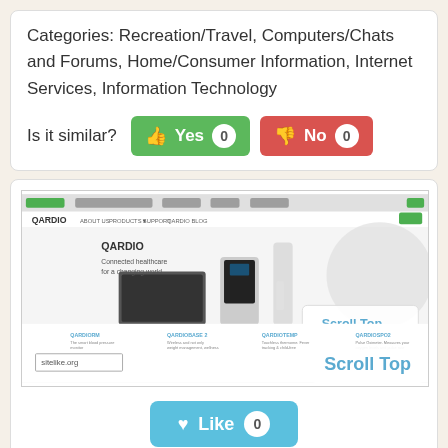Categories: Recreation/Travel, Computers/Chats and Forums, Home/Consumer Information, Internet Services, Information Technology
Is it similar? Yes 0 No 0
[Figure (screenshot): Screenshot of Qardio website showing connected healthcare products including QARDIORM, QARDIOBASE 2, QARDIOTEMP, and QARDIOSPO2. A 'Scroll Top' overlay appears on the right side. A sitelike.org watermark is visible.]
Like 0